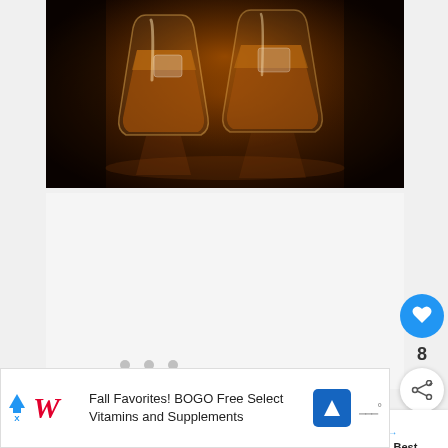[Figure (photo): Two whiskey glasses filled with amber liquid on a dark reflective surface with warm brown tones]
[Figure (infographic): White content area with three dot pagination indicators and social UI buttons (heart/like with count 8, share button) on the right side]
WHAT'S NEXT →
What Are The Best...
Fall Favorites! BOGO Free Select Vitamins and Supplements